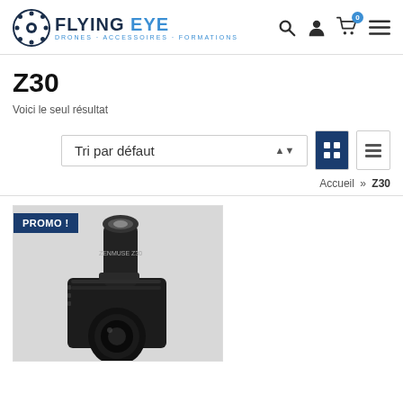[Figure (logo): Flying Eye logo - drone company logo with gear/drone icon and text FLYING EYE DRONES - ACCESSOIRES - FORMATIONS]
Z30
Voici le seul résultat
Tri par défaut
Accueil » Z30
[Figure (photo): DJI Zenmuse Z30 gimbal camera with PROMO ! badge overlay - black camera with telescopic lens on top]